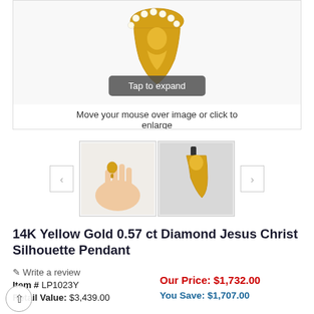[Figure (photo): Main product image area showing a gold diamond Jesus Christ silhouette pendant with 'Tap to expand' overlay and instruction text 'Move your mouse over image or click to enlarge']
[Figure (photo): Thumbnail row with two product images: one showing pendant held in a hand, one showing pendant on display stand. Navigation arrows on left and right.]
14K Yellow Gold 0.57 ct Diamond Jesus Christ Silhouette Pendant
✏ Write a review
Item # LP1023Y
Retail Value: $3,439.00
Our Price: $1,732.00
You Save: $1,707.00